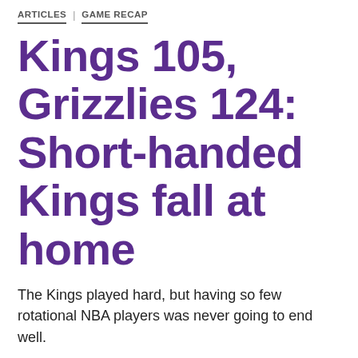ARTICLES | GAME RECAP
Kings 105, Grizzlies 124: Short-handed Kings fall at home
The Kings played hard, but having so few rotational NBA players was never going to end well.
By Tim Maxwell | 44 Comments | December 17, 2021